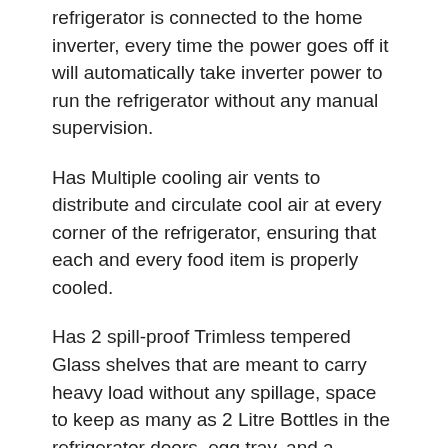refrigerator is connected to the home inverter, every time the power goes off it will automatically take inverter power to run the refrigerator without any manual supervision.
Has Multiple cooling air vents to distribute and circulate cool air at every corner of the refrigerator, ensuring that each and every food item is properly cooled.
Has 2 spill-proof Trimless tempered Glass shelves that are meant to carry heavy load without any spillage, space to keep as many as 2 Litre Bottles in the refrigerator doors, egg tray, and a vegetable compartment with lattice type cover to maintain the moisture level within it.
Special features of this refrigerator are spacious chiller zone, humidity controller balance the air